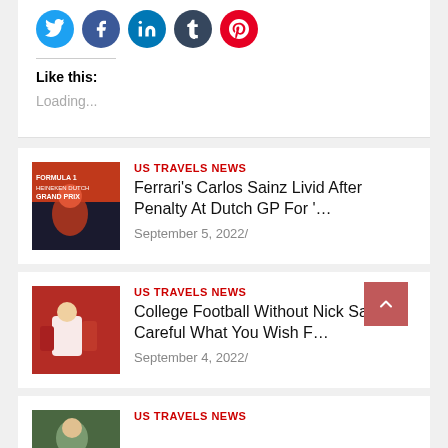[Figure (illustration): Row of social share icon circles: Twitter (blue), Facebook (blue), LinkedIn (blue), Tumblr (dark), Pinterest (red)]
Like this:
Loading...
US TRAVELS NEWS
Ferrari's Carlos Sainz Livid After Penalty At Dutch GP For '…
September 5, 2022/
US TRAVELS NEWS
College Football Without Nick Saban? Careful What You Wish F…
September 4, 2022/
US TRAVELS NEWS